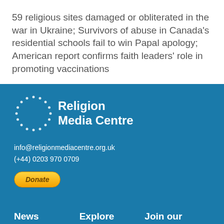59 religious sites damaged or obliterated in the war in Ukraine; Survivors of abuse in Canada's residential schools fail to win Papal apology; American report confirms faith leaders' role in promoting vaccinations
[Figure (logo): Religion Media Centre logo — circular dotted ring with 'Religion Media Centre' text in white on blue background]
info@religionmediacentre.org.uk
(+44) 0203 970 0709
Donate
News
Explore
Join our Newsletter